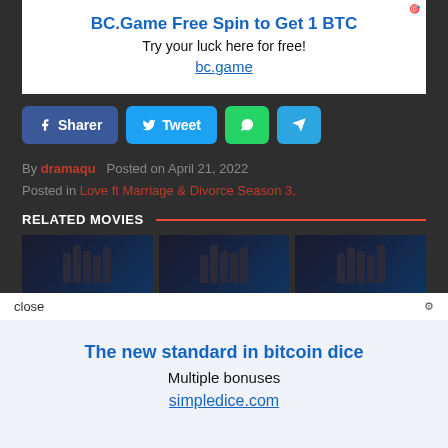[Figure (other): Advertisement banner: BC.Game Free Spin to Get 1 BTC. Try your luck here for free! bc.game]
By dramaqu  Posted on April 21, 2022
Posted in Love ft Marriage & Divorce Season 3,
RELATED MOVIES
[Figure (photo): Three movie thumbnails showing group of people in dark clothing]
close
[Figure (other): Advertisement banner: The new standard in bitcoin dice. Multiple bonuses simpledice.com]